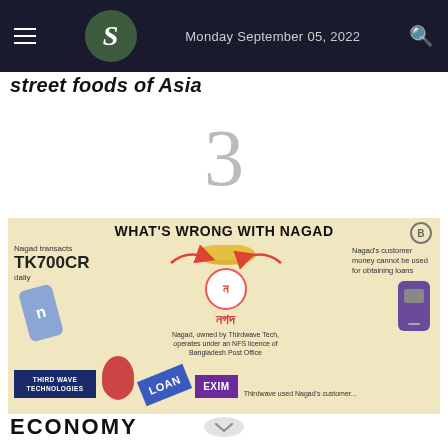Monday September 05, 2022
Street foods of Asia
3
[Figure (infographic): Infographic titled 'WHAT'S WRONG WITH NAGAD'. Shows Nagad transacts TK700CR daily. Nagad, owned by Thirdwave Tech, operates under an NFS licence of Bangladesh Post Office. Nagad's customer money cannot be used for obtaining loans. Thirdwave used Nagad's customer... Shows Third Wave Technologies logo, LOAN card, and EXIM bank card.]
ECONOMY